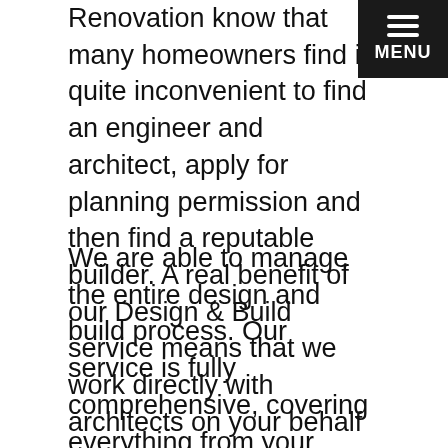Renovation know that many homeowners find it quite inconvenient to find an engineer and architect, apply for planning permission and then find a reputable builder. A real benefit of our Design & Build service means that we work directly with architects on your behalf so you only have to deal with us.
We are able to manage the entire design and build process. Our service is fully comprehensive, covering everything from your initial design ideas, all the way to the completion of your project.
Smooth build process
We combine clearly defined planning with a state of the art design process, enabling us to deliver the best possible concepts to turnkey solutions for our